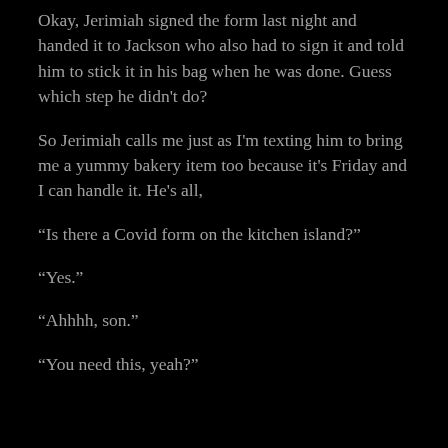Okay, Jerimiah signed the form last night and handed it to Jackson who also had to sign it and told him to stick it in his bag when he was done. Guess which step he didn't do?
So Jerimiah calls me just as I'm texting him to bring me a yummy bakery item too because it's Friday and I can handle it. He's all,
“Is there a Covid form on the kitchen island?”
“Yes.”
“Ahhhh, son.”
“You need this, yeah?”